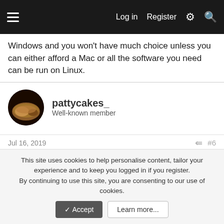Log in  Register
Windows and you won't have much choice unless you can either afford a Mac or all the software you need can be run on Linux.
pattycakes_
Well-known member
Jul 16, 2019  #6
Gonna stick with Windows 7 for as long as possible. 10 fkn sucks. I try to avoid Windows update whenever possible. Running a base installation of win7 sp1 with no updates currently and haven't had any major problems. Really pissed me off to find out 7 won't run on the newest cpus. Also, I never run
This site uses cookies to help personalise content, tailor your experience and to keep you logged in if you register.
By continuing to use this site, you are consenting to our use of cookies.